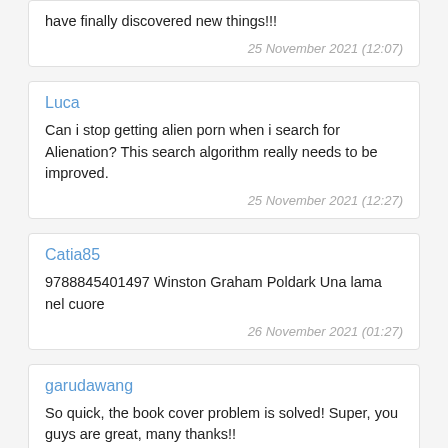have finally discovered new things!!!
25 November 2021 (12:07)
Luca
Can i stop getting alien porn when i search for Alienation? This search algorithm really needs to be improved.
25 November 2021 (12:27)
Catia85
9788845401497 Winston Graham Poldark Una lama nel cuore
26 November 2021 (01:27)
garudawang
So quick, the book cover problem is solved! Super, you guys are great, many thanks!!